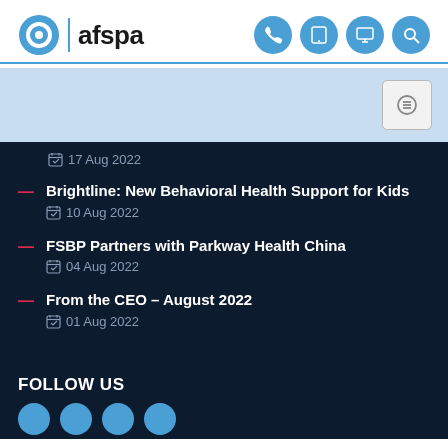afspa
17 Aug 2022
Brightline: New Behavioral Health Support for Kids — 10 Aug 2022
FSBP Partners with Parkway Health China — 04 Aug 2022
From the CEO - August 2022 — 01 Aug 2022
FOLLOW US